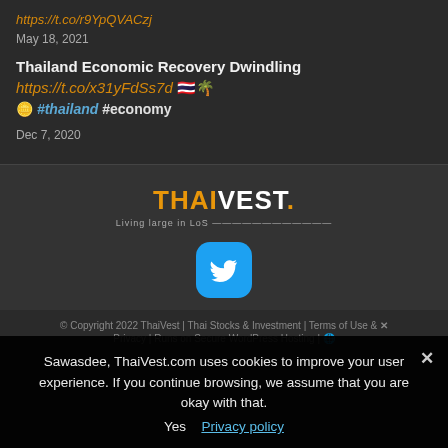https://t.co/r9YpQVACzj
May 18, 2021
Thailand Economic Recovery Dwindling https://t.co/x31yFdSs7d 🇹🇭🌴🪙 #thailand #economy
Dec 7, 2020
[Figure (logo): ThaiVest logo with tagline 'Living large in LoS']
[Figure (logo): Twitter bird icon button in blue rounded square]
© Copyright 2022 ThaiVest | Thai Stocks & Investment | Terms of Use & Privacy | Runs on Secure WordPress Hosting | 🌐
Sawasdee, ThaiVest.com uses cookies to improve your user experience. If you continue browsing, we assume that you are okay with that.
Yes   Privacy policy